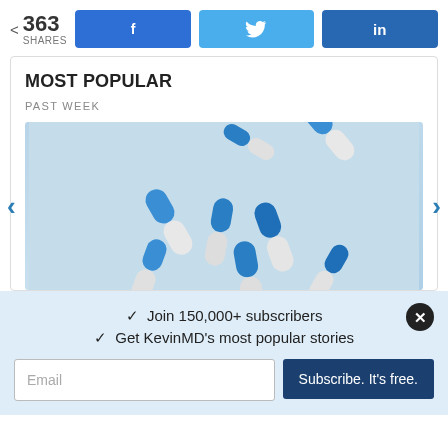363 SHARES
[Figure (screenshot): Social share buttons: Facebook (f icon), Twitter (bird icon), LinkedIn (in icon)]
MOST POPULAR
PAST WEEK
[Figure (photo): Blue and white capsule pills scattered on a light blue background]
✓  Join 150,000+ subscribers
✓  Get KevinMD's most popular stories
Email | Subscribe. It's free.